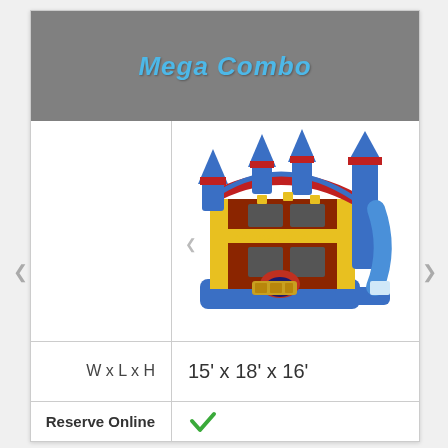Mega Combo
[Figure (photo): Inflatable bounce house combo unit with blue castle turrets, red and yellow panels, 'ART PANEL HERE' text on front, and a slide on the right side]
| W x L x H | 15' x 18' x 16' |
| Reserve Online | ✓ |